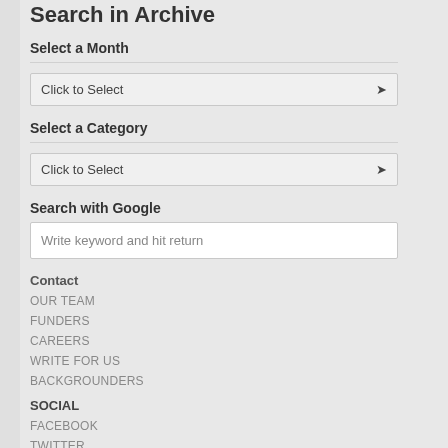Search in Archive
Select a Month
Click to Select
Select a Category
Click to Select
Search with Google
Write keyword and hit return
Contact
OUR TEAM
FUNDERS
CAREERS
WRITE FOR US
BACKGROUNDERS
SOCIAL
FACEBOOK
TWITTER
GOOGLE+
LINKEDIN